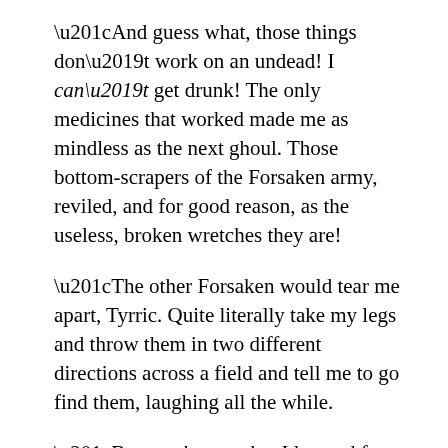“And guess what, those things don’t work on an undead! I can’t get drunk! The only medicines that worked made me as mindless as the next ghoul. Those bottom-scrapers of the Forsaken army, reviled, and for good reason, as the useless, broken wretches they are!
“The other Forsaken would tear me apart, Tyrric. Quite literally take my legs and throw them in two different directions across a field and tell me to go find them, laughing all the while.
“But you know what I learned from that?”
Tyrric looked up at him, just barely, through